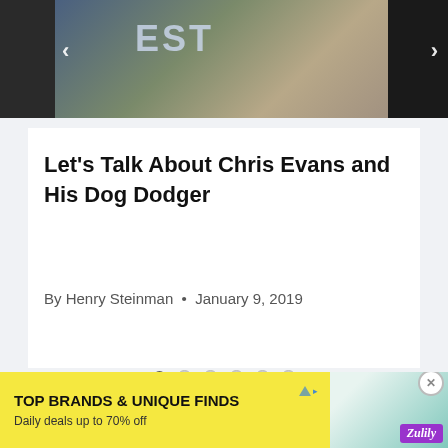[Figure (photo): A carousel image showing a dog and a person in a dark setting, with navigation arrows on left and right sides]
Let’s Talk About Chris Evans and His Dog Dodger
By Henry Steinman • January 9, 2019
[Figure (other): Dot navigation indicators: 6 dots with the first one active/filled]
[Figure (other): Advertisement banner: TOP BRANDS & UNIQUE FINDS. Daily deals up to 70% off. Zulily ad with bag and shoe images.]